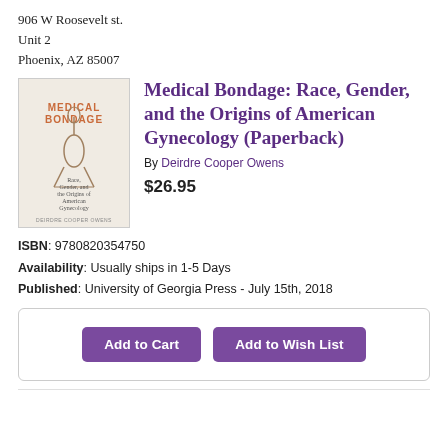906 W Roosevelt st.
Unit 2
Phoenix, AZ 85007
[Figure (illustration): Book cover of 'Medical Bondage: Race, Gender, and the Origins of American Gynecology' by Deirdre Cooper Owens. Beige/tan cover with text 'MEDICAL BONDAGE' in orange/coral and subtitle in smaller text, with an illustrated surgical instrument (speculum) in the center.]
Medical Bondage: Race, Gender, and the Origins of American Gynecology (Paperback)
By Deirdre Cooper Owens
$26.95
ISBN: 9780820354750
Availability: Usually ships in 1-5 Days
Published: University of Georgia Press - July 15th, 2018